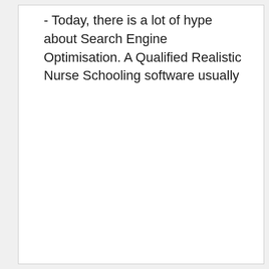- Today, there is a lot of hype about Search Engine Optimisation. A Qualified Realistic Nurse Schooling software usually